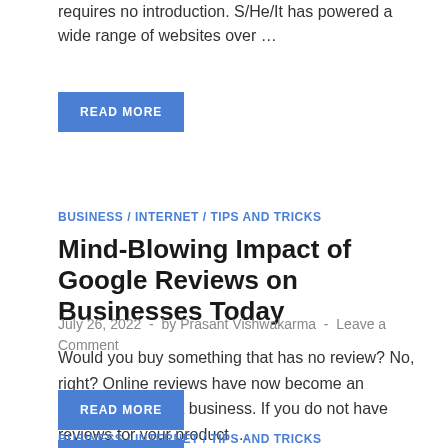requires no introduction. S/He/It has powered a wide range of websites over …
READ MORE
BUSINESS / INTERNET / TIPS AND TRICKS
Mind-Blowing Impact of Google Reviews on Businesses Today
July 26, 2022  -  by Prasant Vishwakarma  -  Leave a Comment
Would you buy something that has no review? No, right? Online reviews have now become an essential part of a business. If you do not have reviews for your product …
READ MORE
BUSINESS / INTERNET / TIPS AND TRICKS